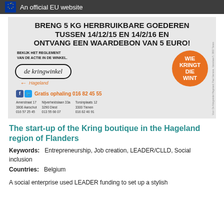An official EU website
[Figure (illustration): Advertisement for de Kringwinkel Hageland. Large bold text: BRENG 5 KG HERBRUIKBARE GOEDEREN TUSSEN 14/12/15 EN 14/2/16 EN ONTVANG EEN WAARDEBON VAN 5 EURO! Smaller bold text: BEKIJK HET REGLEMENT VAN DE ACTIE IN DE WINKEL. Oval logo with 'de kringwinkel' and orange arrow pointing left, with 'Hageland' below. Orange circle with text WIE KRINGT DIE WINT. Social media icons with 'Gratis ophaling 016 82 45 55'. Three address blocks listed.]
The start-up of the Kring boutique in the Hageland region of Flanders
Keywords:   Entrepreneurship, Job creation, LEADER/CLLD, Social inclusion
Countries:   Belgium
A social enterprise used LEADER funding to set up a stylish